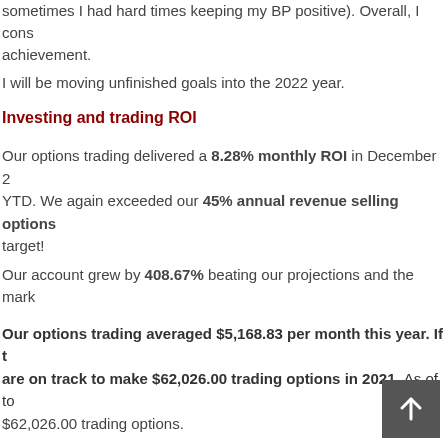sometimes I had hard times keeping my BP positive). Overall, I consider this an achievement.
I will be moving unfinished goals into the 2022 year.
Investing and trading ROI
Our options trading delivered a 8.28% monthly ROI in December 2 YTD. We again exceeded our 45% annual revenue selling options target!
Our account grew by 408.67% beating our projections and the mark
Our options trading averaged $5,168.83 per month this year. If t are on track to make $62,026.00 trading options in 2021. As of to $62,026.00 trading options.
Old SPX trades repair